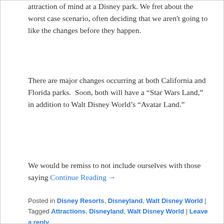attraction of mind at a Disney park. We fret about the worst case scenario, often deciding that we aren't going to like the changes before they happen.
There are major changes occurring at both California and Florida parks.  Soon, both will have a “Star Wars Land,” in addition to Walt Disney World’s “Avatar Land.”
We would be remiss to not include ourselves with those saying Continue Reading →
Posted in Disney Resorts, Disneyland, Walt Disney World | Tagged Attractions, Disneyland, Walt Disney World | Leave a reply